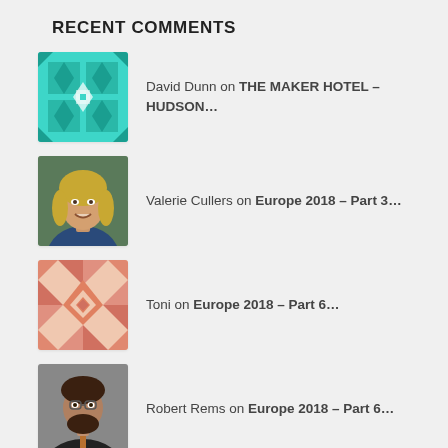RECENT COMMENTS
David Dunn on THE MAKER HOTEL – HUDSON…
Valerie Cullers on Europe 2018 – Part 3…
Toni on Europe 2018 – Part 6…
Robert Rems on Europe 2018 – Part 6…
Toni on Europe 2018 – Part 6…